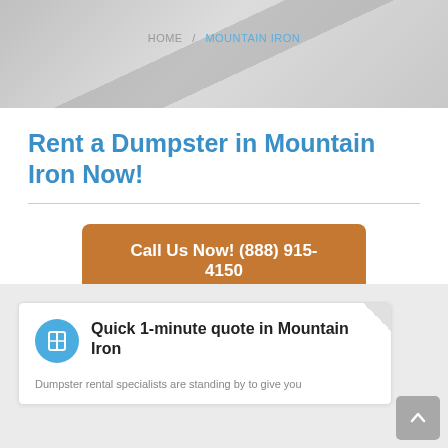HOME / MOUNTAIN IRON
Rent a Dumpster in Mountain Iron Now!
Call Us Now! (888) 915-4150
Quick 1-minute quote in Mountain Iron
Dumpster rental specialists are standing by to give you